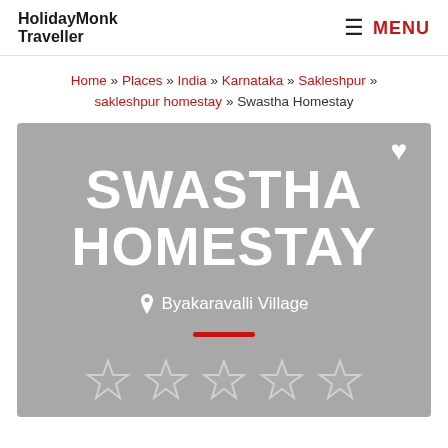HolidayMonk Traveller | MENU
Home » Places » India » Karnataka » Sakleshpur » sakleshpur homestay » Swastha Homestay
[Figure (other): Hotel card with gray background showing 'SWASTHA HOMESTAY' in large white text, a heart icon, location pin with 'Byakaravalli Village', a red horizontal bar, and a row of 5 star outline icons at the bottom.]